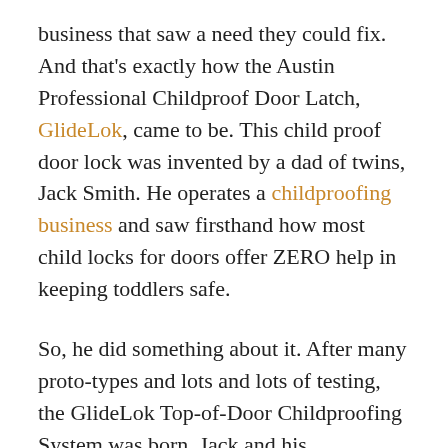business that saw a need they could fix. And that's exactly how the Austin Professional Childproof Door Latch, GlideLok, came to be. This child proof door lock was invented by a dad of twins, Jack Smith. He operates a childproofing business and saw firsthand how most child locks for doors offer ZERO help in keeping toddlers safe.
So, he did something about it. After many proto-types and lots and lots of testing, the GlideLok Top-of-Door Childproofing System was born. Jack and his childproofing installation business in Texas use the